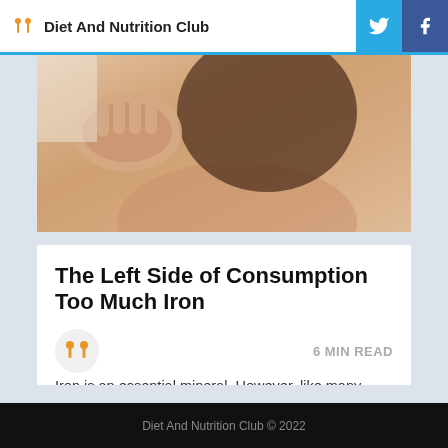Diet And Nutrition Club
[Figure (photo): Close-up photo of a woman's face and neck, hand raised near ear, wearing a white spaghetti strap top, warm skin tones]
The Left Side of Consumption Too Much Iron
Iron is a very important mineral, so excess or iron deficiency can cause immeasurable consequences Iron is an essential mineral. However, like many other nutrients, it is harmful when using large doses. In fact, iron is so toxic that it must be tightly controlled in the gastrointestinal tract
6 MIN READ
Diet And Nutrition Club © 2022